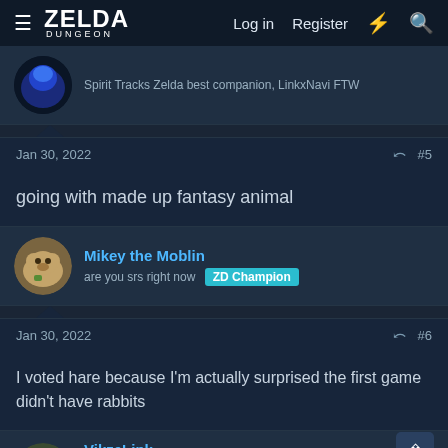ZELDA DUNGEON — Log in  Register
Spirit Tracks Zelda best companion, LinkxNavi FTW
Jan 30, 2022  #5
going with made up fantasy animal
Mikey the Moblin
are you srs right now  ZD Champion
Jan 30, 2022  #6
I voted hare because I'm actually surprised the first game didn't have rabbits
VikzeLink
The Destructive One  Staff member  ZD Legend  Moderator
Jan 30, 2022  #7